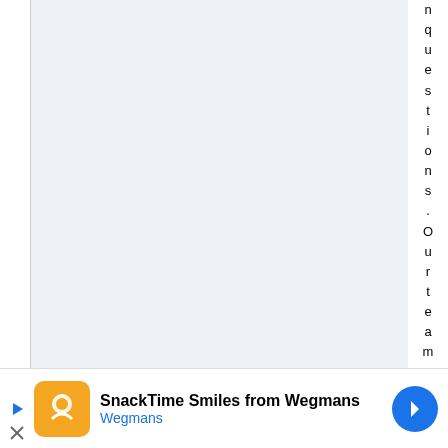questions. Our team is comprised up of experienced
[Figure (screenshot): Advertisement banner for Wegmans SnackTime Smiles featuring orange logo icon, text 'SnackTime Smiles from Wegmans' and 'Wegmans', with blue arrow button and play/close controls]